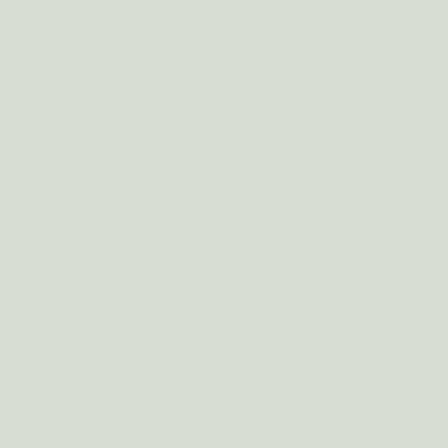| № | Author / Title |
| --- | --- |
| 30 | Kudryashov A…
Automated Li… |
| 31 | Petrov Yu.S., M…
Generalized M… |
| 32 | Spasennikov V…
Methodology … |
| 37 | Savin S.I., Vor…
Nested Quadra… |
| 38 | Savin S.I., Vor…
Pace Pattern C… |
| 40 | Podivilova E.,…
Application of… |
| 41 | Kudryashov A…
Pulse Width M… |
| 42 | Dem'yanov D.…
Analytical syn… |
| 43 | Scherbakov A.…
Development… |